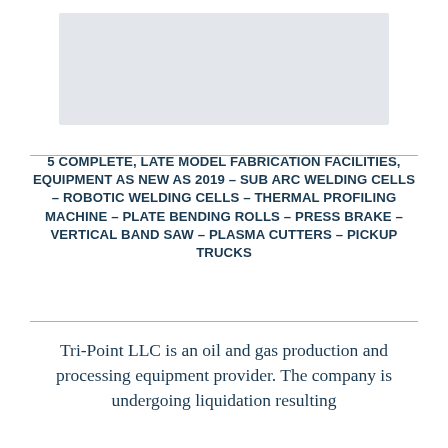[Figure (photo): Faded/watermarked background image of fabrication equipment or facility]
5 COMPLETE, LATE MODEL FABRICATION FACILITIES, EQUIPMENT AS NEW AS 2019 – SUB ARC WELDING CELLS – ROBOTIC WELDING CELLS – THERMAL PROFILING MACHINE – PLATE BENDING ROLLS – PRESS BRAKE – VERTICAL BAND SAW – PLASMA CUTTERS – PICKUP TRUCKS
Tri-Point LLC is an oil and gas production and processing equipment provider. The company is undergoing liquidation resulting